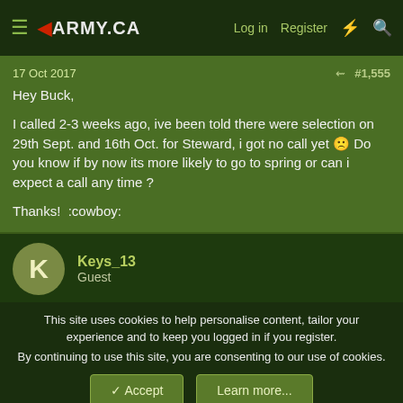≡ ◄ARMY.CA  Log in  Register  ⚡  🔍
17 Oct 2017  #1,555
Hey Buck,

I called 2-3 weeks ago, ive been told there were selection on 29th Sept. and 16th Oct. for Steward, i got no call yet 🙁 Do you know if by now its more likely to go to spring or can i expect a call any time ?

Thanks!  :cowboy:
Keys_13
Guest
This site uses cookies to help personalise content, tailor your experience and to keep you logged in if you register.
By continuing to use this site, you are consenting to our use of cookies.
✓ Accept  Learn more...